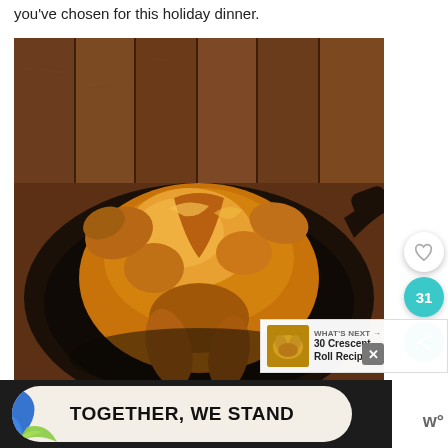you've chosen for this holiday dinner.
[Figure (photo): A golden-brown roasted chicken or turkey spatchcocked and cooked in a cast iron skillet, placed on a dark wood surface. Social media UI elements visible: heart/like button, share count of 31, and a share button in teal.]
WHAT'S NEXT → 30 Crescent Roll Recipes...
TOGETHER, WE STAND